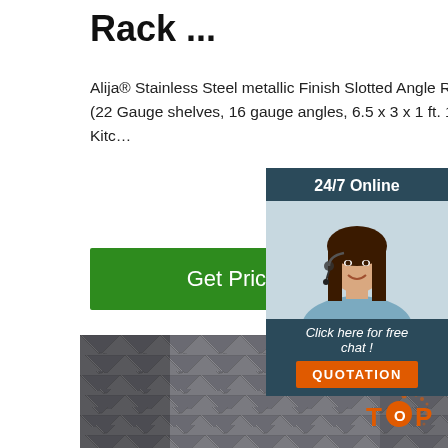Rack ...
Alija® Stainless Steel metallic Finish Slotted Angle Rack with 6 Shelves Storage Rack unit (22 Gauge shelves, 16 gauge angles, 6.5 x 3 x 1 ft. 12 Inch, Ivory) : Amazon.in: Home & Kitc…
[Figure (other): Green 'Get Price' button]
[Figure (other): 24/7 Online chat widget with woman wearing headset, 'Click here for free chat!' text, and orange QUOTATION button]
[Figure (photo): Stack of metallic slotted angle steel bars/racks piled together, grey metallic color]
[Figure (logo): TOP logo in orange with dots/circles around it, bottom right corner]